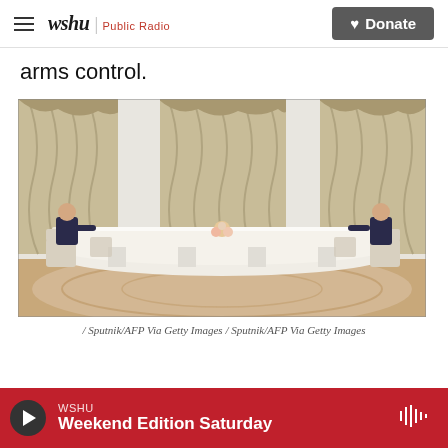wshu | Public Radio — Donate
arms control.
[Figure (photo): Two men seated at opposite ends of a very long white ornate conference table in an opulent room with tall draped curtains; one man in a dark suit on the left and another on the far right]
/ Sputnik/AFP Via Getty Images / Sputnik/AFP Via Getty Images
WSHU — Weekend Edition Saturday